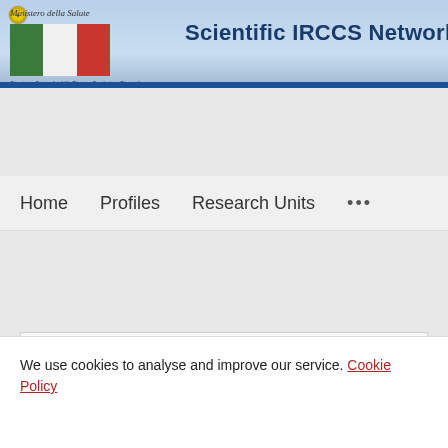Scientific IRCCS Network — Ministero della Salute — Direzione Generale della Ricerca Sanitaria e Biomedica
Home   Profiles   Research Units   •••
Search...
A common pathway in differentiation and inflammation: p38 mediates expression of the
We use cookies to analyse and improve our service. Cookie Policy